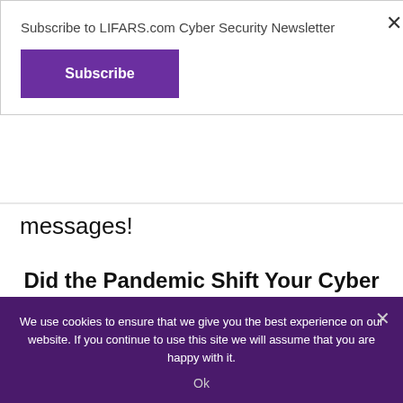Subscribe to LIFARS.com Cyber Security Newsletter
[Figure (other): Purple Subscribe button]
messages!
Did the Pandemic Shift Your Cyber Focus?
LIFARS is offering The Daily TRUTH
We use cookies to ensure that we give you the best experience on our website. If you continue to use this site we will assume that you are happy with it.
Ok